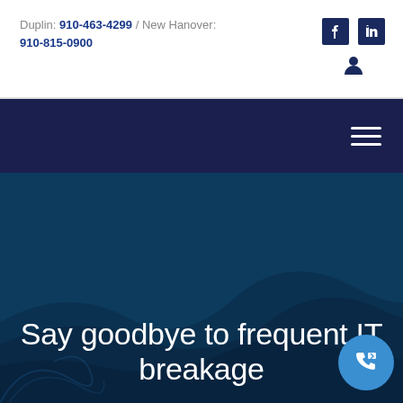Duplin: 910-463-4299 / New Hanover: 910-815-0900
[Figure (screenshot): Navigation bar with dark navy background and hamburger menu icon on the right]
[Figure (photo): Hero section with dark blue background featuring abstract wave/smoke pattern]
Say goodbye to frequent IT breakage